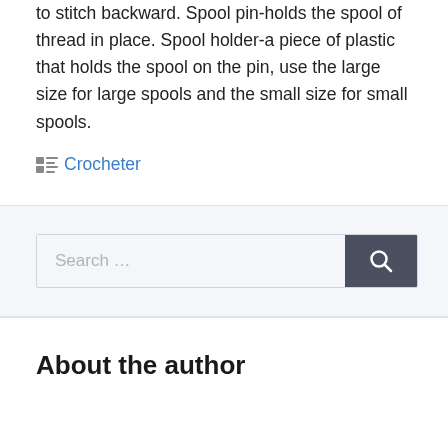to stitch backward. Spool pin-holds the spool of thread in place. Spool holder-a piece of plastic that holds the spool on the pin, use the large size for large spools and the small size for small spools.
Categories: Crocheter
Search ...
About the author